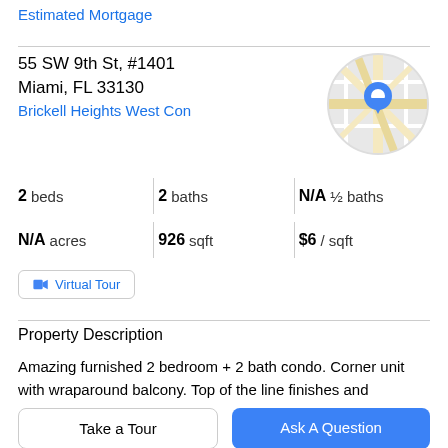Estimated Mortgage
55 SW 9th St, #1401
Miami, FL 33130
Brickell Heights West Con
[Figure (map): Circular map thumbnail showing street map with blue location pin marker]
2 beds  |  2 baths  |  N/A ½ baths
N/A acres  |  926 sqft  |  $6 / sqft
Virtual Tour
Property Description
Amazing furnished 2 bedroom + 2 bath condo. Corner unit with wraparound balcony. Top of the line finishes and
Take a Tour
Ask A Question